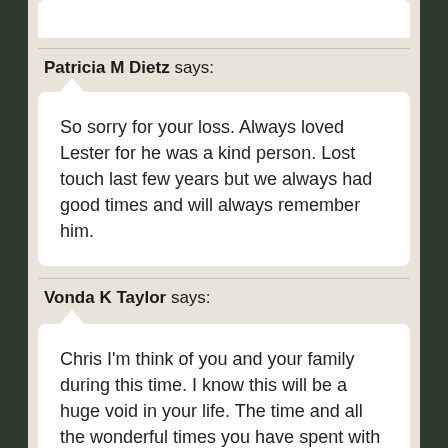Patricia M Dietz says:
So sorry for your loss. Always loved Lester for he was a kind person. Lost touch last few years but we always had good times and will always remember him.
Vonda K Taylor says:
Chris I'm think of you and your family during this time. I know this will be a huge void in your life. The time and all the wonderful times you have spent with your father are precious memories for a lifetime.